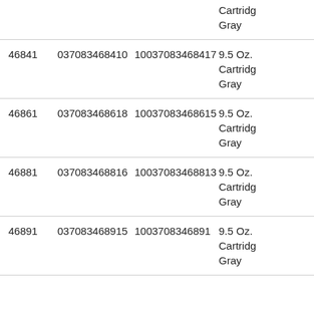|  |  |  |  |
| --- | --- | --- | --- |
|  |  |  | Cartridge Gray |
| 46841 | 037083468410 | 10037083468417 | 9.5 Oz. Cartridge Gray |
| 46861 | 037083468618 | 10037083468615 | 9.5 Oz. Cartridge Gray |
| 46881 | 037083468816 | 10037083468813 | 9.5 Oz. Cartridge Gray |
| 46891 | 037083468915 | 1003708346891 | 9.5 Oz. Cartridge Gray |